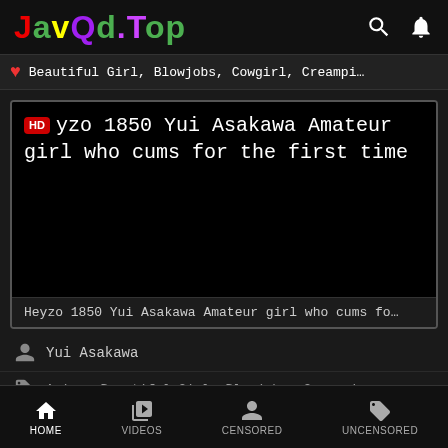JavQd.Top
Beautiful Girl, Blowjobs, Cowgirl, Creampi…
[Figure (screenshot): Video thumbnail player with HD badge showing black screen and title overlay: 'yzo 1850 Yui Asakawa Amateur girl who cums for the first time']
Heyzo 1850 Yui Asakawa Amateur girl who cums fo…
Yui Asakawa
Asian, Beautiful Girl, Blowjobs, Creampie
HOME  VIDEOS  CENSORED  UNCENSORED